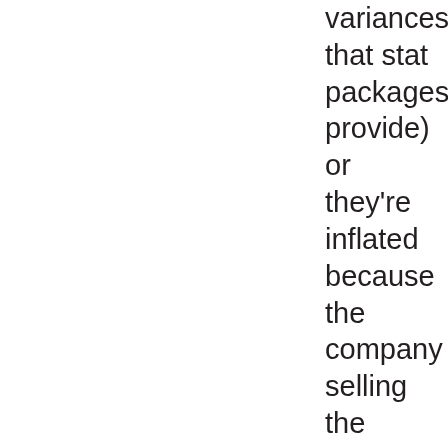variances that stat packages provide) or they're inflated because the company selling the advertising wants it to look good and justify their prices.